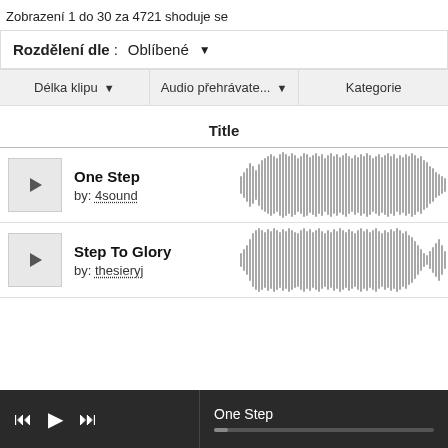Zobrazení 1 do 30 za 4721 shoduje se
Rozdělení dle : Oblíbené
Délka klipu ▾   Audio přehrávate... ▾   Kategorie
Title
One Step
by: 4sound
[Figure (other): Waveform visualization for One Step audio track]
Step To Glory
by: thesieryj
[Figure (other): Waveform visualization for Step To Glory audio track]
One Step (audio player bar with progress)